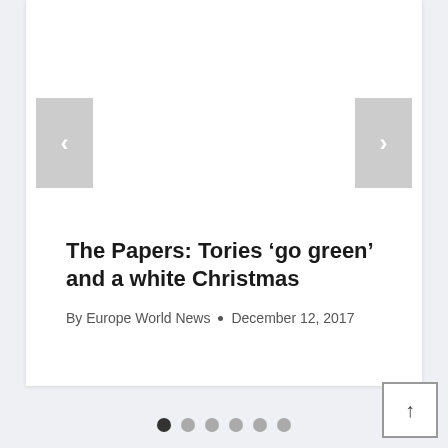The Papers: Tories ‘go green’ and a white Christmas
By Europe World News • December 12, 2017